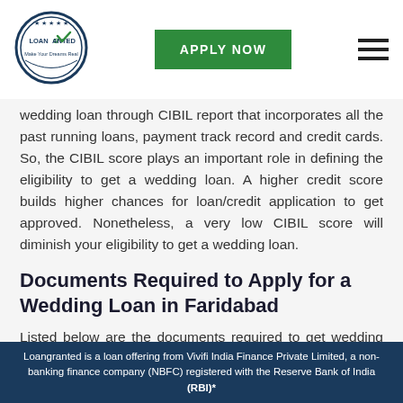[Figure (logo): Loan Granted circular logo with checkmark and text 'Make Your Dreams Real']
[Figure (other): Green 'APPLY NOW' button]
[Figure (other): Hamburger menu icon (three horizontal lines)]
wedding loan through CIBIL report that incorporates all the past running loans, payment track record and credit cards. So, the CIBIL score plays an important role in defining the eligibility to get a wedding loan. A higher credit score builds higher chances for loan/credit application to get approved. Nonetheless, a very low CIBIL score will diminish your eligibility to get a wedding loan.
Documents Required to Apply for a Wedding Loan in Faridabad
Listed below are the documents required to get wedding loan approved online at Loan Granted:
Loangranted is a loan offering from Vivifi India Finance Private Limited, a non-banking finance company (NBFC) registered with the Reserve Bank of India (RBI)*